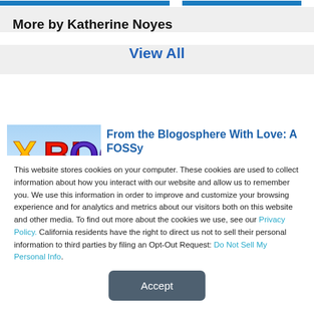More by Katherine Noyes
View All
[Figure (screenshot): XBLOG logo image with colorful letters on a light background]
From the Blogosphere With Love: A FOSSy
This website stores cookies on your computer. These cookies are used to collect information about how you interact with our website and allow us to remember you. We use this information in order to improve and customize your browsing experience and for analytics and metrics about our visitors both on this website and other media. To find out more about the cookies we use, see our Privacy Policy. California residents have the right to direct us not to sell their personal information to third parties by filing an Opt-Out Request: Do Not Sell My Personal Info.
Accept